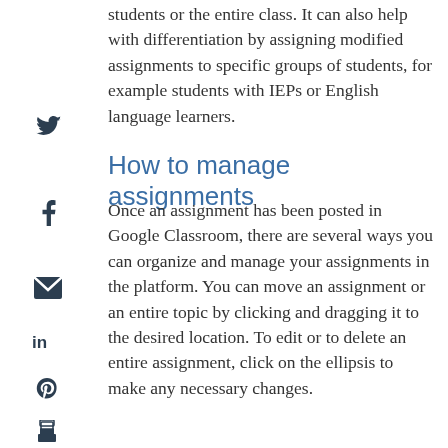students or the entire class. It can also help with differentiation by assigning modified assignments to specific groups of students, for example students with IEPs or English language learners.
How to manage assignments
Once an assignment has been posted in Google Classroom, there are several ways you can organize and manage your assignments in the platform. You can move an assignment or an entire topic by clicking and dragging it to the desired location. To edit or to delete an entire assignment, click on the ellipsis to make any necessary changes.